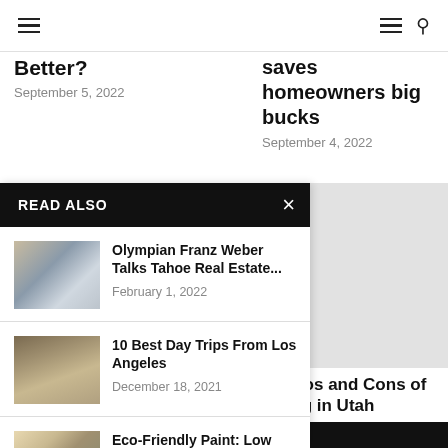Navigation bar with hamburger menu and search icon
Better?
September 5, 2022
saves homeowners big bucks
September 4, 2022
READ ALSO
Olympian Franz Weber Talks Tahoe Real Estate...
February 1, 2022
10 Best Day Trips From Los Angeles
December 18, 2021
Eco-Friendly Paint: Low VOC, No VOC, and...
July 23, 2022
10 Pros and Cons of Living in Utah
September 4, 2022